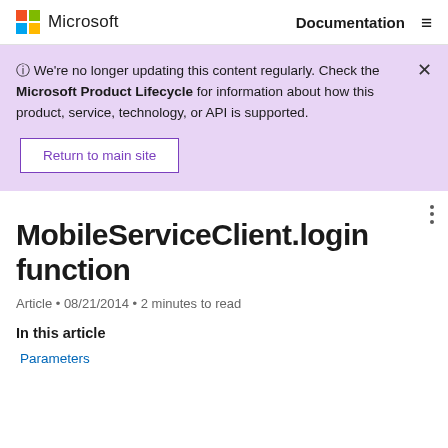Microsoft | Documentation
⊙ We're no longer updating this content regularly. Check the Microsoft Product Lifecycle for information about how this product, service, technology, or API is supported.
Return to main site
MobileServiceClient.login function
Article • 08/21/2014 • 2 minutes to read
In this article
Parameters